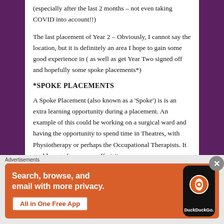(especially after the last 2 months – not even taking COVID into account!!)
The last placement of Year 2 – Obviously, I cannot say the location, but it is definitely an area I hope to gain some good experience in ( as well as get Year Two signed off and hopefully some spoke placements*)
*SPOKE PLACEMENTS
A Spoke Placement (also known as a 'Spoke') is is an extra learning opportunity during a placement. An example of this could be working on a surgical ward and having the opportunity to spend time in Theatres, with Physiotherapy or perhaps the Occupational Therapists. It could range from a one off visit or one
[Figure (screenshot): DuckDuckGo advertisement banner with orange background, showing text 'Search, browse, and email with more privacy. All in One Free App' with a phone mockup showing DuckDuckGo logo]